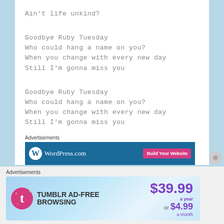Ain't life unkind?
Goodbye Ruby Tuesday
Who could hang a name on you?
When you change with every new day
Still I'm gonna miss you
Goodbye Ruby Tuesday
Who could hang a name on you?
When you change with every new day
Still I'm gonna miss you
Advertisements
[Figure (screenshot): WordPress.com advertisement banner with 'Build Your Website' button]
Advertisements
[Figure (screenshot): Tumblr Ad-Free Browsing advertisement banner showing $39.99 a year or $4.99 a month]